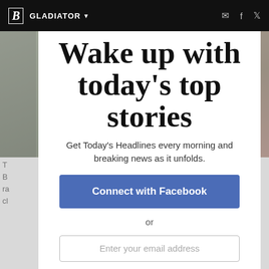B  GLADIATOR ▼
[Figure (photo): Sports field background photo, partially visible behind modal overlay]
T B ra cl
Wake up with today's top stories
Get Today's Headlines every morning and breaking news as it unfolds.
Connect with Facebook
or
Enter your email address